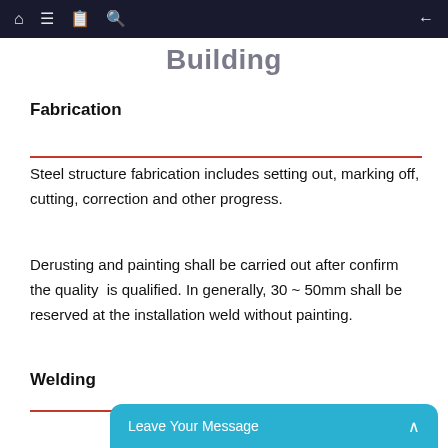Building
Fabrication
Steel structure fabrication includes setting out, marking off, cutting, correction and other progress.
Derusting and painting shall be carried out after confirm the quality is qualified. In generally, 30 ~ 50mm shall be reserved at the installation weld without painting.
Welding